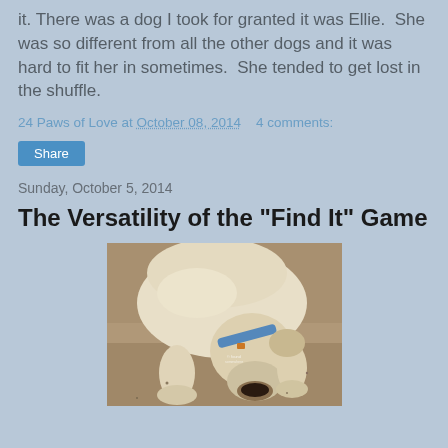it. There was a dog I took for granted it was Ellie.  She was so different from all the other dogs and it was hard to fit her in sometimes.  She tended to get lost in the shuffle.
24 Paws of Love at October 08, 2014   4 comments:
Share
Sunday, October 5, 2014
The Versatility of the "Find It" Game
[Figure (photo): A yellow Labrador dog wearing a blue collar, nose down sniffing the dirt/ground, searching for something.]